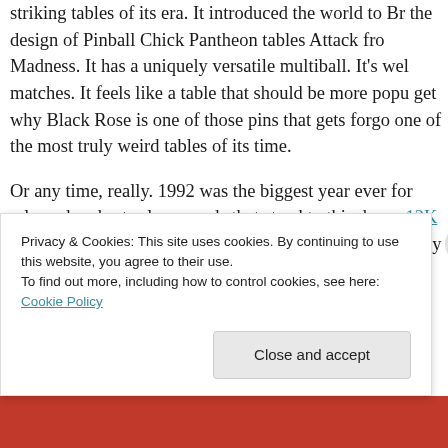striking tables of its era. It introduced the world to Br... the design of Pinball Chick Pantheon tables Attack fro... Madness. It has a uniquely versatile multiball. It's wel... matches. It feels like a table that should be more popu... get why Black Rose is one of those pins that gets forgo... one of the most truly weird tables of its time.
Or any time, really. 1992 was the biggest year ever for... released and set sales records that stand to this day, a... 12K Clubbers release (Fish Tales and Getaway: High S... its only two 10,000 unit-selling tables (Star Wars and ...
Privacy & Cookies: This site uses cookies. By continuing to use this website, you agree to their use.
To find out more, including how to control cookies, see here: Cookie Policy